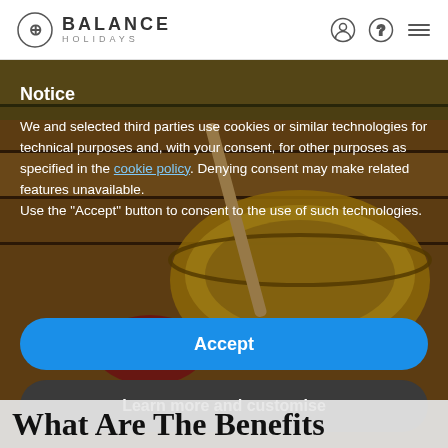BALANCE HOLIDAYS
[Figure (photo): Tibetan singing bowl with mallet on wooden slat bench, outdoor setting]
Notice
We and selected third parties use cookies or similar technologies for technical purposes and, with your consent, for other purposes as specified in the cookie policy. Denying consent may make related features unavailable.
Use the "Accept" button to consent to the use of such technologies.
Accept
Learn more and customise
What Are The Benefits